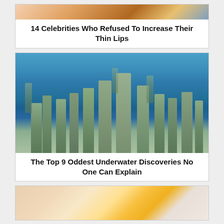[Figure (photo): Partial photo of a blonde celebrity face at top]
14 Celebrities Who Refused To Increase Their Thin Lips
[Figure (photo): Underwater museum photo showing many human statues submerged in blue ocean water]
The Top 9 Oddest Underwater Discoveries No One Can Explain
[Figure (photo): Partial photo at bottom showing hands holding what appears to be an egg or food item]